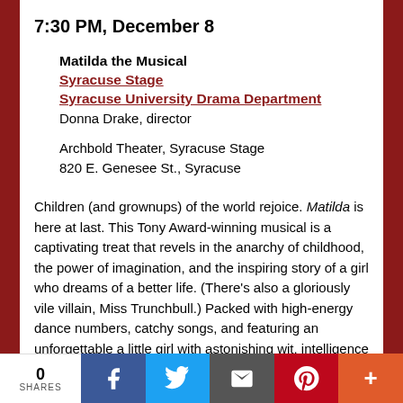7:30 PM, December 8
Matilda the Musical
Syracuse Stage
Syracuse University Drama Department
Donna Drake, director
Archbold Theater, Syracuse Stage
820 E. Genesee St., Syracuse
Children (and grownups) of the world rejoice. Matilda is here at last. This Tony Award-winning musical is a captivating treat that revels in the anarchy of childhood, the power of imagination, and the inspiring story of a girl who dreams of a better life. (There's also a gloriously vile villain, Miss Trunchbull.) Packed with high-energy dance numbers, catchy songs, and featuring an unforgettable a little girl with astonishing wit, intelligence
0 SHARES | Facebook | Twitter | Email | Pinterest | Plus